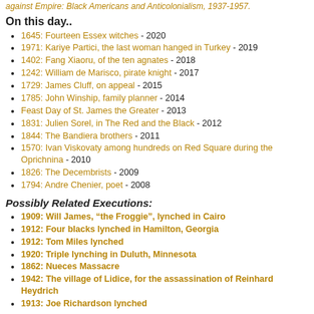against Empire: Black Americans and Anticolonialism, 1937-1957.
On this day..
1645: Fourteen Essex witches - 2020
1971: Kariye Partici, the last woman hanged in Turkey - 2019
1402: Fang Xiaoru, of the ten agnates - 2018
1242: William de Marisco, pirate knight - 2017
1729: James Cluff, on appeal - 2015
1785: John Winship, family planner - 2014
Feast Day of St. James the Greater - 2013
1831: Julien Sorel, in The Red and the Black - 2012
1844: The Bandiera brothers - 2011
1570: Ivan Viskovaty among hundreds on Red Square during the Oprichnina - 2010
1826: The Decembrists - 2009
1794: Andre Chenier, poet - 2008
Possibly Related Executions:
1909: Will James, "the Froggie", lynched in Cairo
1912: Four blacks lynched in Hamilton, Georgia
1912: Tom Miles lynched
1920: Triple lynching in Duluth, Minnesota
1862: Nueces Massacre
1942: The village of Lidice, for the assassination of Reinhard Heydrich
1913: Joe Richardson lynched
Entry Filed under: 20th Century, Borderline "Executions", Disfavored Minorities, Georgia, History, Lynching, No Formal Charge, Racial and Ethnic Minorities, Shot, Summary Executions, USA
Tags: 1940s, 1946, dorothy malcom, eugene talmadge, george dorsey, jim crow, july 25